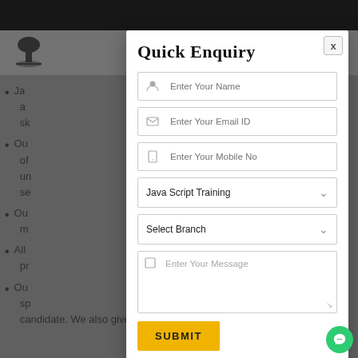[Figure (screenshot): Website background with dark top bar, tree logo, hamburger menu, and bullet point text content, overlaid with semi-transparent dark overlay]
Quick Enquiry
Enter Your Name
Enter Your Email ID
Enter Your Mobile No
Java Script Training
Select Branch
Enter Your Message
SUBMIT